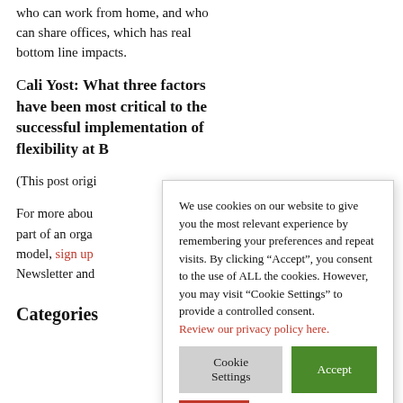who can work from home, and who can share offices, which has real bottom line impacts.
Cali Yost: What three factors have been most critical to the successful implementation of flexibility at B
(This post origi
For more abou part of an orga model, sign up Newsletter and
[Figure (screenshot): Cookie consent modal dialog with text: 'We use cookies on our website to give you the most relevant experience by remembering your preferences and repeat visits. By clicking “Accept”, you consent to the use of ALL the cookies. However, you may visit “Cookie Settings” to provide a controlled consent. Review our privacy policy here.' with buttons: Cookie Settings, Accept, Reject]
Categories